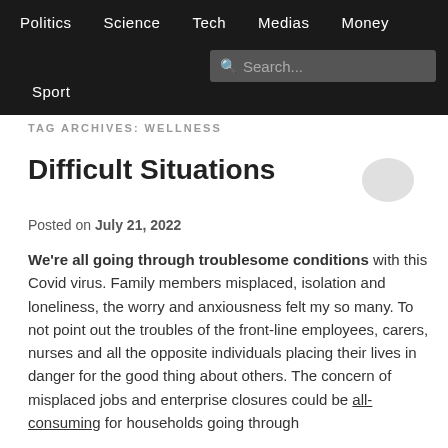Politics  Science  Tech  Medias  Money  Sport  Search
TAG ARCHIVES: WELLNESS
Difficult Situations
Posted on July 21, 2022
We're all going through troublesome conditions with this Covid virus. Family members misplaced, isolation and loneliness, the worry and anxiousness felt my so many. To not point out the troubles of the front-line employees, carers, nurses and all the opposite individuals placing their lives in danger for the good thing about others. The concern of misplaced jobs and enterprise closures could be all-consuming for households going through